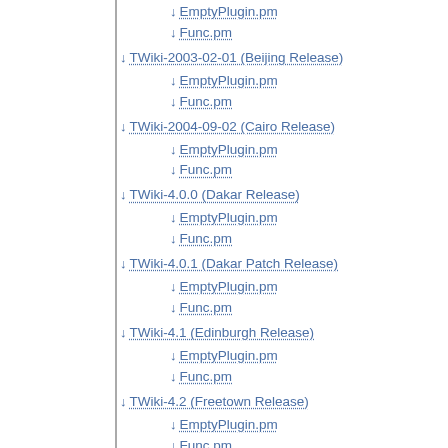↓ EmptyPlugin.pm
↓ Func.pm
↓ TWiki-2003-02-01 (Beijing Release)
↓ EmptyPlugin.pm
↓ Func.pm
↓ TWiki-2004-09-02 (Cairo Release)
↓ EmptyPlugin.pm
↓ Func.pm
↓ TWiki-4.0.0 (Dakar Release)
↓ EmptyPlugin.pm
↓ Func.pm
↓ TWiki-4.0.1 (Dakar Patch Release)
↓ EmptyPlugin.pm
↓ Func.pm
↓ TWiki-4.1 (Edinburgh Release)
↓ EmptyPlugin.pm
↓ Func.pm
↓ TWiki-4.2 (Freetown Release)
↓ EmptyPlugin.pm
↓ Func.pm
↓ TWiki-4.3 (Georgetown Release)
↓ EmptyPlugin.pm